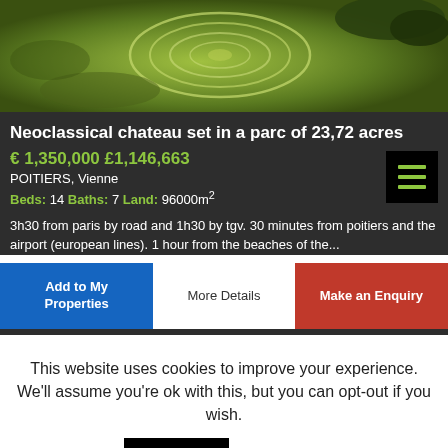[Figure (photo): Aerial view of a field with circular crop patterns and trees in the corner]
Neoclassical chateau set in a parc of 23,72 acres
€ 1,350,000 £1,146,663
POITIERS, Vienne
Beds: 14 Baths: 7 Land: 96000m²
3h30 from paris by road and 1h30 by tgv. 30 minutes from poitiers and the airport (european lines). 1 hour from the beaches of the...
Add to My Properties | More Details | Make an Enquiry
This website uses cookies to improve your experience. We'll assume you're ok with this, but you can opt-out if you wish.
Accept | Read More